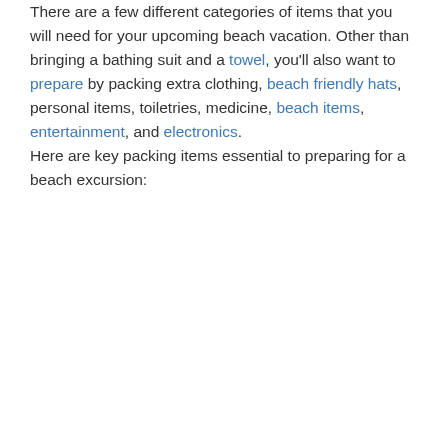There are a few different categories of items that you will need for your upcoming beach vacation. Other than bringing a bathing suit and a towel, you'll also want to prepare by packing extra clothing, beach friendly hats, personal items, toiletries, medicine, beach items, entertainment, and electronics.
Here are key packing items essential to preparing for a beach excursion: